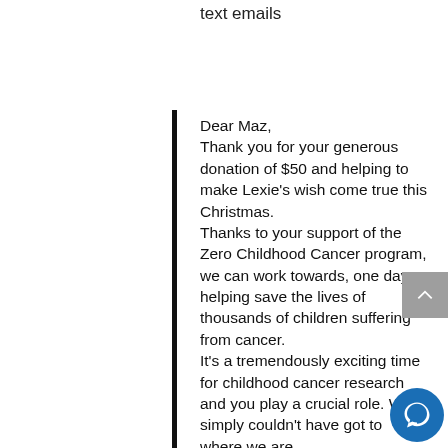text emails
Dear Maz,
Thank you for your generous donation of $50 and helping to make Lexie's wish come true this Christmas.
Thanks to your support of the Zero Childhood Cancer program, we can work towards, one day helping save the lives of thousands of children suffering from cancer.
It's a tremendously exciting time for childhood cancer research and you play a crucial role. We simply couldn't have got to where we are